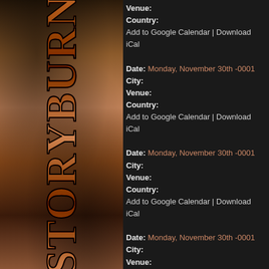[Figure (illustration): Vertical banner on left side with stylized distressed text reading 'STORYBURN' rotated vertically, rendered in rust/brown tones on a textured background]
Venue:
Country:
Add to Google Calendar | Download iCal
Date: Monday, November 30th -0001
City:
Venue:
Country:
Add to Google Calendar | Download iCal
Date: Monday, November 30th -0001
City:
Venue:
Country:
Add to Google Calendar | Download iCal
Date: Monday, November 30th -0001
City:
Venue:
Country:
Add to Google Calendar | Download iCal
Date: Monday, November 30th -0001
City: